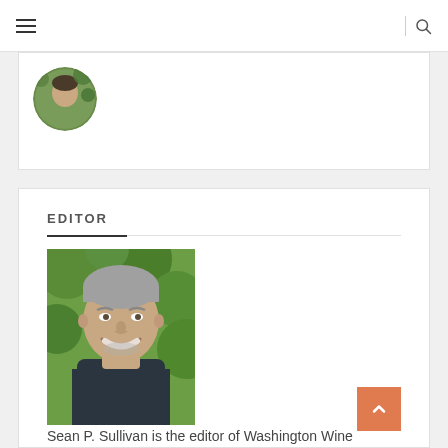Navigation bar with hamburger menu and search icon
[Figure (photo): Partial view of a circular avatar photo (top of person's head, green foliage background), cropped at bottom]
EDITOR
[Figure (photo): Portrait photo of Sean P. Sullivan, a middle-aged man with short gray hair and a trimmed beard, smiling, wearing a dark polo shirt, with green trees in the background]
Sean P. Sullivan is the editor of Washington Wine